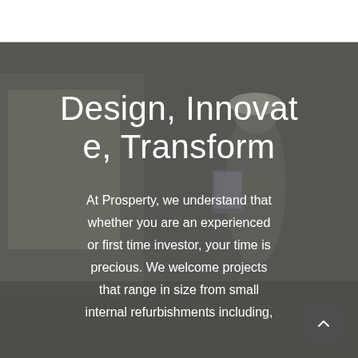Design, Innovate, Transform
At Prosperty, we understand that whether you are an experienced or first time investor, your time is precious. We welcome projects that range in size from small internal refurbishments including,